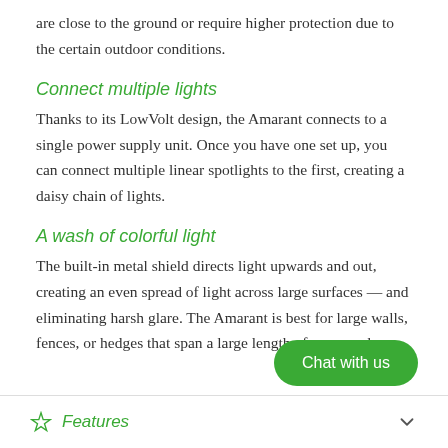are close to the ground or require higher protection due to the certain outdoor conditions.
Connect multiple lights
Thanks to its LowVolt design, the Amarant connects to a single power supply unit. Once you have one set up, you can connect multiple linear spotlights to the first, creating a daisy chain of lights.
A wash of colorful light
The built-in metal shield directs light upwards and out, creating an even spread of light across large surfaces — and eliminating harsh glare. The Amarant is best for large walls, fences, or hedges that span a large length of your yard.
Chat with us
Features